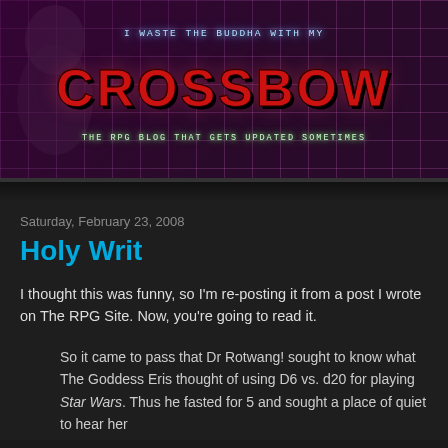[Figure (illustration): Blog banner with retro cyberpunk/grid aesthetic. Purple grid background with shadowy figure on left. Text reads: 'I WASTE THE BUDDHA WITH MY' above large stylized red/dark text 'CROSSBOW', with tagline 'THE RPG BLOG THAT GETS UPDATED SOMETIMES']
Saturday, February 23, 2008
Holy Writ
I thought this was funny, so I'm re-posting it from a post I wrote on The RPG Site. Now, you're going to read it.
So it came to pass that Dr Rotwang! sought to know what The Goddess Eris thought of using D6 vs. d20 for playing Star Wars. Thus he fasted for 5 and sought a place of quiet to hear her